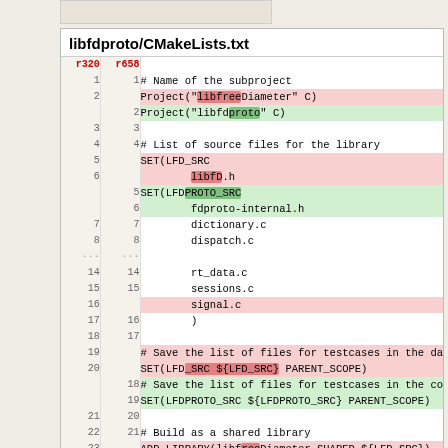libfdproto/CMakeLists.txt
| r320 | r658 | code |
| --- | --- | --- |
| 1 | 1 | # Name of the subproject |
| 2 |  | Project("libfreeDiameter" C) |
|  | 2 | Project("libfdproto" C) |
| 3 | 3 |  |
| 4 | 4 | # List of source files for the library |
| 5 |  | SET(LFD_SRC |
| 6 |  |         libfD.h |
|  | 5 | SET(LFDPROTO_SRC |
|  | 6 |         fdproto-internal.h |
| 7 | 7 |         dictionary.c |
| 8 | 8 |         dispatch.c |
| .... | .... |  |
| 14 | 14 |         rt_data.c |
| 15 | 15 |         sessions.c |
| 16 |  |         signal.c |
| 17 | 16 |         ) |
| 18 | 17 |  |
| 19 |  | # Save the list of files for testcases in the da |
| 20 |  | SET(LFD_SRC ${LFD_SRC} PARENT_SCOPE) |
|  | 18 | # Save the list of files for testcases in the co |
|  | 19 | SET(LFDPROTO_SRC ${LFDPROTO_SRC} PARENT_SCOPE) |
| 21 | 20 |  |
| 22 | 21 | # Build as a shared library |
| 23 |  | ADD_LIBRARY(libfreeDiameter SHARED ${LFD_SRC}) |
|  | 22 | ADD_LIBRARY(libfdproto SHARED ${LFDPROTO_SRC}) |
| 24 | 23 |  |